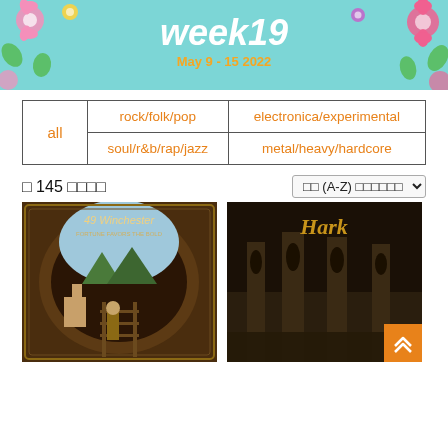[Figure (illustration): Banner with 'week19' text, 'May 9 - 15 2022' subtitle, teal/turquoise background with flower decorations]
| all | rock/folk/pop | electronica/experimental |
|  | soul/r&b/rap/jazz | metal/heavy/hardcore |
□ 145 □□□□
[Figure (illustration): Album cover for 49 Winchester 'Fortune Favors the Bold' - illustrated mining tunnel scene with person and horse]
[Figure (illustration): Album cover with gothic/dark fantasy imagery and stylized logo text]